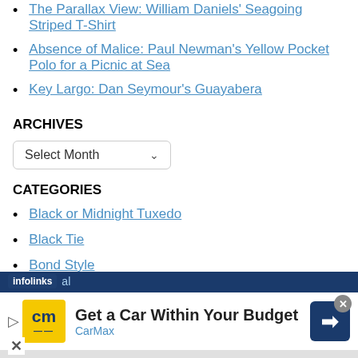The Parallax View: William Daniels' Seagoing Striped T-Shirt
Absence of Malice: Paul Newman's Yellow Pocket Polo for a Picnic at Sea
Key Largo: Dan Seymour's Guayabera
ARCHIVES
Select Month
CATEGORIES
Black or Midnight Tuxedo
Black Tie
Bond Style
Casual
[Figure (screenshot): Infolinks ad bar and CarMax advertisement banner at the bottom of the page. Text: Get a Car Within Your Budget, CarMax.]